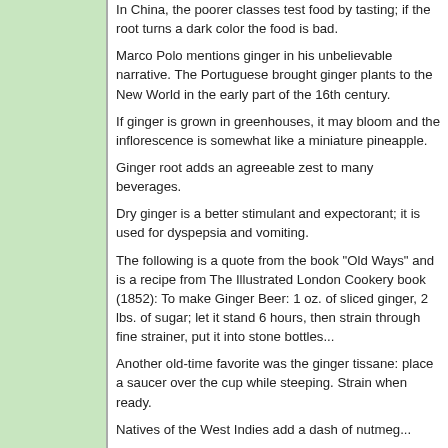In China, the poorer classes test food by tasting; if the root turns a dark color the food is bad.
Marco Polo mentions ginger in his unbelievable narrative. The Portuguese brought ginger plants to the New World in the early part of the 16th century.
If ginger is grown in greenhouses, it may bloom and the inflorescence is somewhat like a miniature pineapple.
Ginger root adds an agreeable zest to many beverages.
Dry ginger is a better stimulant and expectorant; it is used for dyspepsia and vomiting.
The following is a quote from the book "Old Ways" and is a recipe from The Illustrated London Cookery book (1852): To make Ginger Beer: 1 oz. of sliced ginger, 2 lbs. of sugar; let it stand 6 hours, then strain through fine strainer, put it into stone bottles...
Another old-time favorite was the ginger tissane: place a saucer over the cup while steeping. Strain when ready.
Natives of the West Indies add a dash of nutmeg...
Uses
A spicy herb used for colitis, diverticulosis, nausea, travel sickness or motion sickness, vomiting, hot flashes, fermentation, cholera, gout, nausea, arthritis, stimulant...
Ginger tea or tincture, taken hot, promotes cleansing and is useful for suppressed menstruation. Take it to cleanse and make them more palatable or milder in action. Try it at half strength to reduce the effects of the usual symptoms. Finally, to stimulate, use the rootstock as it is. Promotes sweat when taken hot, relieves nausea. An old fashioned remedy for dandruff...